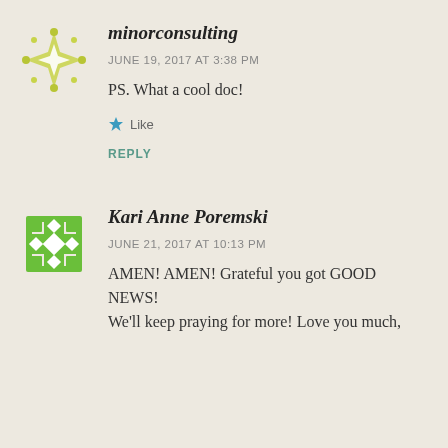[Figure (logo): Yellow-green snowflake/star avatar for minorconsulting]
minorconsulting
JUNE 19, 2017 AT 3:38 PM
PS. What a cool doc!
Like
REPLY
[Figure (logo): Green diamond/cross pattern avatar for Kari Anne Poremski]
Kari Anne Poremski
JUNE 21, 2017 AT 10:13 PM
AMEN! AMEN! Grateful you got GOOD NEWS! We'll keep praying for more! Love you much,